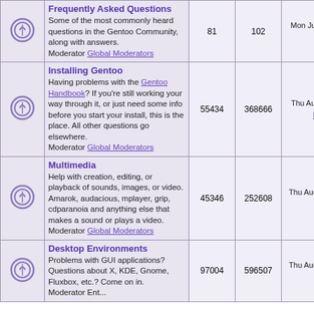| Icon | Forum | Topics | Posts | Last Post |
| --- | --- | --- | --- | --- |
| [icon] | Frequently Asked Questions
Some of the most commonly heard questions in the Gentoo Community, along with answers.
Moderator Global Moderators | 81 | 102 | Mon Jun 04, 2007 4:26 am
cynric |
| [icon] | Installing Gentoo
Having problems with the Gentoo Handbook? If you're still working your way through it, or just need some info before you start your install, this is the place. All other questions go elsewhere.
Moderator Global Moderators | 55434 | 368666 | Thu Aug 18, 2022 1:11 pm
FatFourtyTwo |
| [icon] | Multimedia
Help with creation, editing, or playback of sounds, images, or video. Amarok, audacious, mplayer, grip, cdparanoia and anything else that makes a sound or plays a video.
Moderator Global Moderators | 45346 | 252608 | Thu Aug 18, 2022 11:45 am
cl0q |
| [icon] | Desktop Environments
Problems with GUI applications? Questions about X, KDE, Gnome, Fluxbox, etc.? Come on in.
Moderator Ent... | 97004 | 596507 | Thu Aug 18, 2022 11:56 am
steve_v |